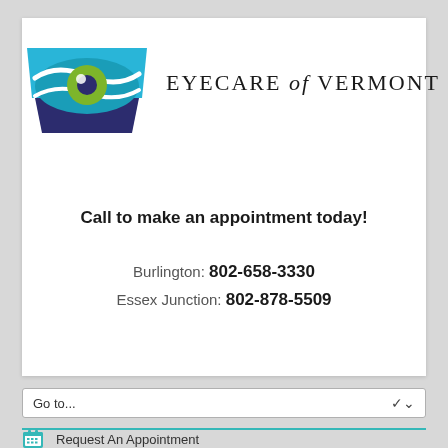[Figure (logo): Eyecare of Vermont logo: stylized eye shape in teal/blue with a green iris, on dark navy background, wavy white lines, with text EYECARE of VERMONT in serif font]
Call to make an appointment today!
Burlington: 802-658-3330
Essex Junction: 802-878-5509
Go to...
Request An Appointment